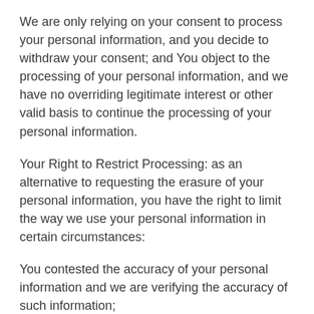We are only relying on your consent to process your personal information, and you decide to withdraw your consent; and You object to the processing of your personal information, and we have no overriding legitimate interest or other valid basis to continue the processing of your personal information.
Your Right to Restrict Processing: as an alternative to requesting the erasure of your personal information, you have the right to limit the way we use your personal information in certain circumstances:
You contested the accuracy of your personal information and we are verifying the accuracy of such information;
We have unlawfully processed your personal